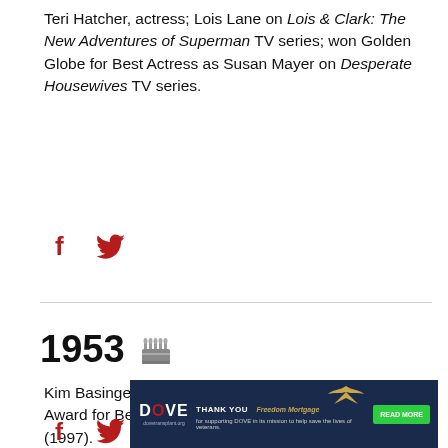Teri Hatcher, actress; Lois Lane on Lois & Clark: The New Adventures of Superman TV series; won Golden Globe for Best Actress as Susan Mayer on Desperate Housewives TV series.
[Figure (other): Facebook and Twitter social share icons in red]
1953 [cake icon]
Kim Basinger, actress, singer, producer; won Academy Award for Best Supporting Actress for L.A. Confidential (1997).
[Figure (other): DOVE advertisement banner: THANK YOU FREEDOM MORTGAGE for supporting DOVE in its mission to help save the lives of veterans. READ MORE button.]